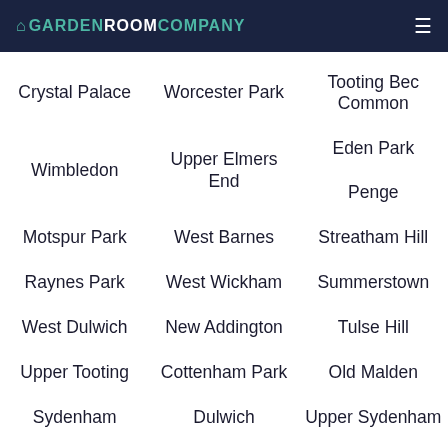GARDEN ROOM COMPANY
Crystal Palace
Worcester Park
Tooting Bec Common
Wimbledon
Upper Elmers End
Eden Park
Penge
Motspur Park
West Barnes
Streatham Hill
Raynes Park
West Wickham
Summerstown
West Dulwich
New Addington
Tulse Hill
Upper Tooting
Cottenham Park
Old Malden
Sydenham
Dulwich
Upper Sydenham